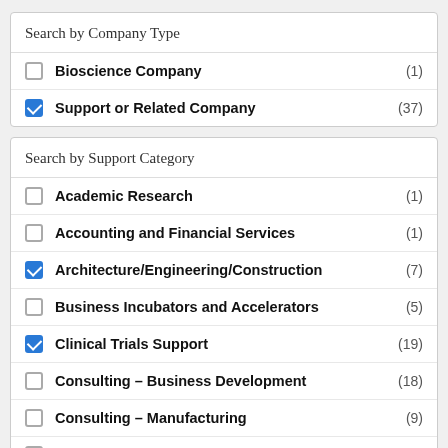Search by Company Type
Bioscience Company (1)
Support or Related Company (37)
Search by Support Category
Academic Research (1)
Accounting and Financial Services (1)
Architecture/Engineering/Construction (7)
Business Incubators and Accelerators (5)
Clinical Trials Support (19)
Consulting – Business Development (18)
Consulting – Manufacturing (9)
Consulting – Regulatory (17)